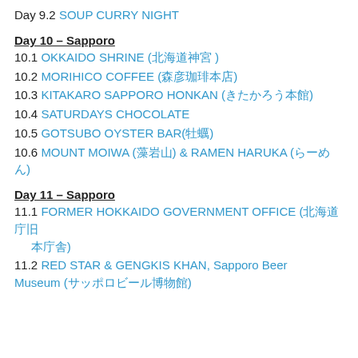Day 9.2 SOUP CURRY NIGHT
Day 10 – Sapporo
10.1 OKKAIDO SHRINE (北海道神宮 )
10.2 MORIHICO COFFEE (森彦珈琲本店)
10.3 KITAKARO SAPPORO HONKAN (きたかろう本館)
10.4 SATURDAYS CHOCOLATE
10.5 GOTSUBO OYSTER BAR(牡蠣)
10.6 MOUNT MOIWA (藻岩山) & RAMEN HARUKA (らーめん)
Day 11 – Sapporo
11.1 FORMER HOKKAIDO GOVERNMENT OFFICE (北海道庁旧本庁舎)
11.2 RED STAR & GENGIS KHAN, Sapporo Beer Museum (サッポロビール博物館)